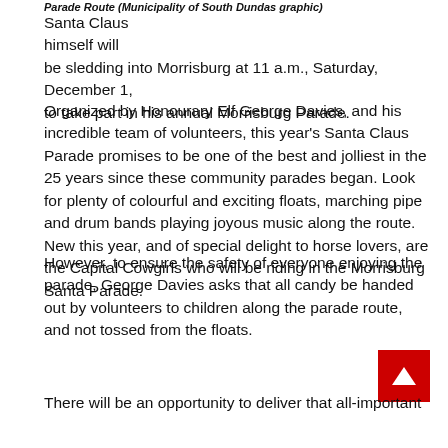Parade Route (Municipality of South Dundas graphic)
Santa Claus himself will be sledding into Morrisburg at 11 a.m., Saturday, December 1, to take part in his annual Morrisburg Parade.
Organized by Honourary Elf George Davies, and his incredible team of volunteers, this year's Santa Claus Parade promises to be one of the best and jolliest in the 25 years since these community parades began. Look for plenty of colourful and exciting floats, marching pipe and drum bands playing joyous music along the route. New this year, and of special delight to horse lovers, are the Capital Cowgirls who will be riding in the Morrisburg Santa Parade.
However, to ensure the safety of everyone enjoying the parade, George Davies asks that all candy be handed out by volunteers to children along the parade route, and not tossed from the floats.
There will be an opportunity to deliver that all-important